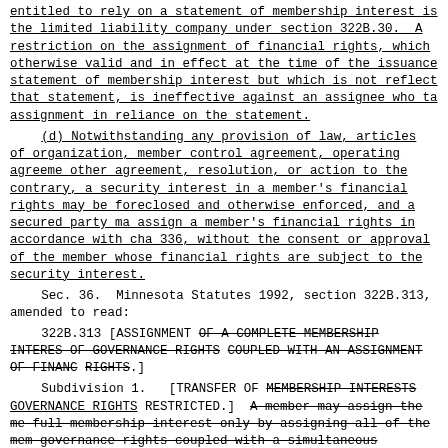entitled to rely on a statement of membership interest is the limited liability company under section 322B.30. A restriction on the assignment of financial rights, which otherwise valid and in effect at the time of the issuance statement of membership interest but which is not reflect that statement, is ineffective against an assignee who ta assignment in reliance on the statement.
(d) Notwithstanding any provision of law, articles of organization, member control agreement, operating agreeme other agreement, resolution, or action to the contrary, a security interest in a member's financial rights may be foreclosed and otherwise enforced, and a secured party ma assign a member's financial rights in accordance with cha 336, without the consent or approval of the member whose financial rights are subject to the security interest.
Sec. 36. Minnesota Statutes 1992, section 322B.313, amended to read:
322B.313 [ASSIGNMENT OF A COMPLETE MEMBERSHIP INTERES OF GOVERNANCE RIGHTS COUPLED WITH AN ASSIGNMENT OF FINANC RIGHTS.]
Subdivision 1. [TRANSFER OF MEMBERSHIP INTERESTS GOVERNANCE RIGHTS RESTRICTED.] A member may assign the me full membership interest only by assigning all of the mem governance rights coupled with a simultaneous assignment same assignee of all the member's financial rights. A me